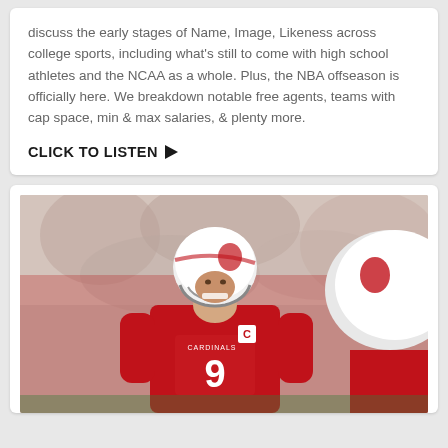discuss the early stages of Name, Image, Likeness across college sports, including what's still to come with high school athletes and the NCAA as a whole. Plus, the NBA offseason is officially here. We breakdown notable free agents, teams with cap space, min & max salaries, & plenty more.
CLICK TO LISTEN ▶
[Figure (photo): Arizona Cardinals football player wearing number 9 jersey in red uniform with white helmet, standing on field. Another Cardinals player in white helmet visible on the right side. Crowd in background.]